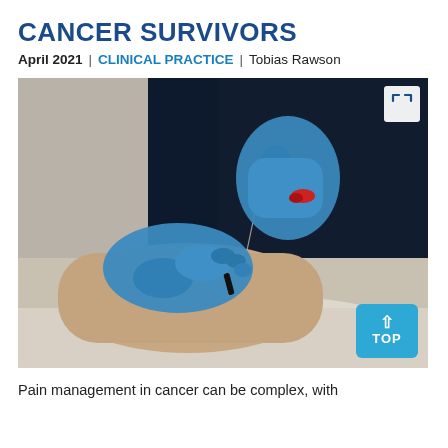CANCER SURVIVORS
April 2021 | CLINICAL PRACTICE | Tobias Rawson
[Figure (photo): A healthcare professional wearing blue latex gloves performing acupuncture or dry needling on a patient's arm/leg. The clinician holds an acupuncture needle with one hand and a tool with the other. The patient's limb rests on a white surface. A 'TOP' navigation button and an expand icon are overlaid on the image.]
Pain management in cancer can be complex, with